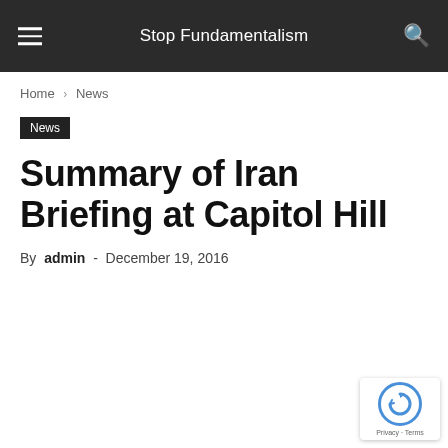Stop Fundamentalism
Home › News
News
Summary of Iran Briefing at Capitol Hill
By admin - December 19, 2016